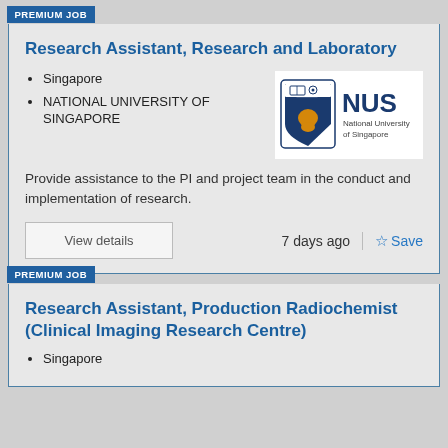PREMIUM JOB
Research Assistant, Research and Laboratory
Singapore
NATIONAL UNIVERSITY OF SINGAPORE
[Figure (logo): NUS National University of Singapore logo]
Provide assistance to the PI and project team in the conduct and implementation of research.
View details
7 days ago
Save
PREMIUM JOB
Research Assistant, Production Radiochemist (Clinical Imaging Research Centre)
Singapore